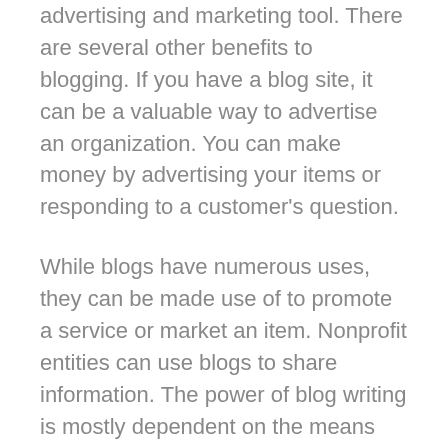advertising and marketing tool. There are several other benefits to blogging. If you have a blog site, it can be a valuable way to advertise an organization. You can make money by advertising your items or responding to a customer's question.
While blogs have numerous uses, they can be made use of to promote a service or market an item. Nonprofit entities can use blogs to share information. The power of blog writing is mostly dependent on the means you use it. For companies, it's not enough to increase your website traffic, however. Your blog needs to be SEO-friendly in order to boost your opportunities of being discovered. There are a variety of methods to maximize your blog site for better internet search engine outcomes.
There are numerous sorts of blogs. Some are more personal, while others are simply business. Some blog writers utilize their blog sites for personal reasons, while others use them for their professional lives. If you wish to start a blog site for your own